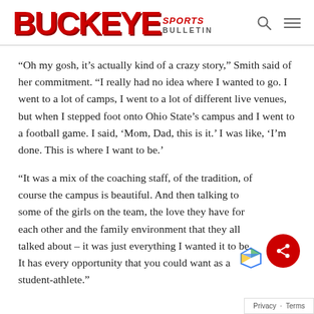BUCKEYE SPORTS BULLETIN
“Oh my gosh, it’s actually kind of a crazy story,” Smith said of her commitment. “I really had no idea where I wanted to go. I went to a lot of camps, I went to a lot of different live venues, but when I stepped foot onto Ohio State’s campus and I went to a football game. I said, ‘Mom, Dad, this is it.’ I was like, ‘I’m done. This is where I want to be.’
“It was a mix of the coaching staff, of the tradition, of course the campus is beautiful. And then talking to some of the girls on the team, the love they have for each other and the family environment that they all talked about – it was just everything I wanted it to be. It has every opportunity that you could want as a student-athlete.”